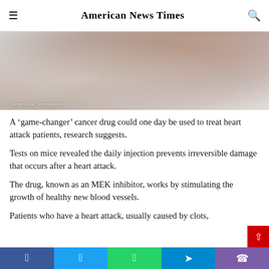American News Times
[Figure (photo): Close-up photo of a person's neck/lower face area, desaturated tones, gray and pinkish hues. Credit: © Shutterstock / zentradyBell]
A 'game-changer' cancer drug could one day be used to treat heart attack patients, research suggests.
Tests on mice revealed the daily injection prevents irreversible damage that occurs after a heart attack.
The drug, known as an MEK inhibitor, works by stimulating the growth of healthy new blood vessels.
Patients who have a heart attack, usually caused by clots,